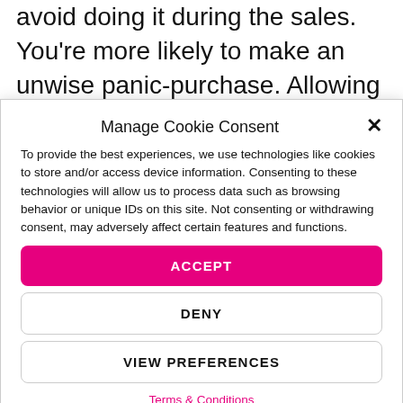avoid doing it during the sales. You're more likely to make an unwise panic-purchase. Allowing more time gives you more options.
Manage Cookie Consent
To provide the best experiences, we use technologies like cookies to store and/or access device information. Consenting to these technologies will allow us to process data such as browsing behavior or unique IDs on this site. Not consenting or withdrawing consent, may adversely affect certain features and functions.
ACCEPT
DENY
VIEW PREFERENCES
Terms & Conditions